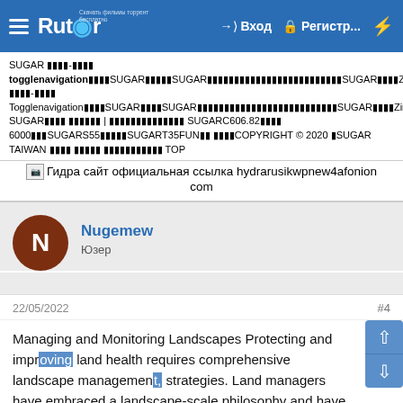Rutor — Вход — Регистр...
SUGAR ▪▪▪▪-▪▪▪▪ togglenavigation▪▪▪▪SUGAR▪▪▪▪▪SUGAR▪▪▪▪▪▪▪▪▪▪▪▪▪▪▪▪▪▪▪▪▪▪▪▪▪▪▪SUGAR▪▪▪▪ZirconiaSUGAR ▪▪▪▪-▪▪▪▪ Togglenavigation▪▪▪▪SUGAR▪▪▪▪SUGAR▪▪▪▪▪▪▪▪▪▪▪▪▪▪▪▪▪▪▪▪▪▪▪▪▪▪SUGAR▪▪▪▪Zirconia SUGAR▪▪▪▪ ▪▪▪▪▪▪ | ▪▪▪▪▪▪▪▪▪▪▪▪▪▪ SUGARC606.82▪▪▪▪ 6000▪▪▪SUGARS55▪▪▪▪▪SUGART35FUN▪▪ ▪▪▪▪COPYRIGHT © 2020 ▪SUGAR TAIWAN ▪▪▪▪ ▪▪▪▪▪ ▪▪▪▪▪▪▪▪▪▪▪ TOP
[Figure (illustration): Broken image icon followed by text: Гидра сайт официальная ссылка hydrarusikwpnew4afonion com]
Nugemew
Юзер
22/05/2022
#4
Managing and Monitoring Landscapes Protecting and improving land health requires comprehensive landscape management strategies. Land managers have embraced a landscape-scale philosophy and have developed new methods to inform decision